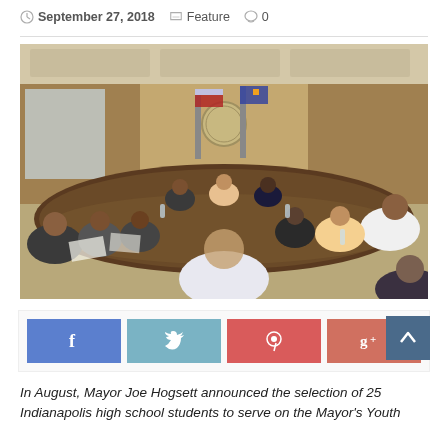September 27, 2018   Feature   0
[Figure (photo): A group of approximately 25 people, mostly high school students, seated around a large conference table in a formal government meeting room with flags and wood-paneled walls. A man in a white shirt is seen from behind at the head of the table.]
[Figure (infographic): Social media sharing buttons: Facebook (blue), Twitter (light blue), Pinterest (red), Google+ (red-orange)]
In August, Mayor Joe Hogsett announced the selection of 25 Indianapolis high school students to serve on the Mayor's Youth